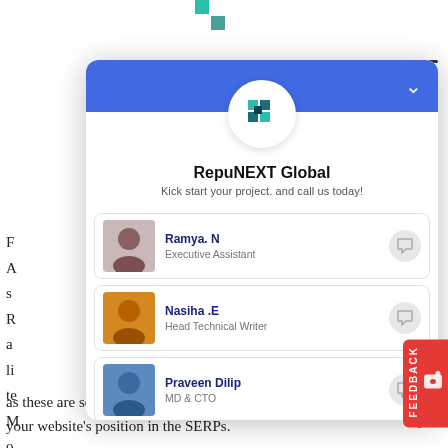[Figure (screenshot): A live chat widget popup from RepuNEXT Global showing a company logo, tagline 'Kick start your project. and call us today!', and four contact persons: Ramya N (Executive Assistant), Nasiha E (Head Technical Writer), Praveen Dilip (MD & CTO), and Andrew Stevens (Sales Director), each with a chat button. Blue header bar with chevron. Feedback tab visible on right side.]
as these are some of the most critical factors influencing your website's position in the SERPs.